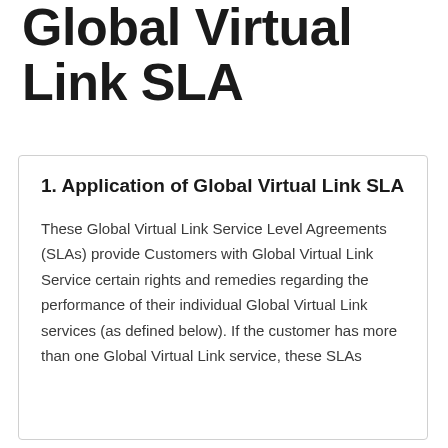Global Virtual Link SLA
1. Application of Global Virtual Link SLA
These Global Virtual Link Service Level Agreements (SLAs) provide Customers with Global Virtual Link Service certain rights and remedies regarding the performance of their individual Global Virtual Link services (as defined below). If the customer has more than one Global Virtual Link service, these SLAs...